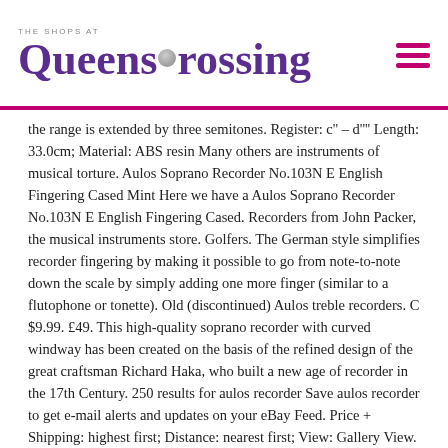THE SHOPS AT QUEENS CROSSING
the range is extended by three semitones. Register: c'' – d'''' Length: 33.0cm; Material: ABS resin Many others are instruments of musical torture. Aulos Soprano Recorder No.103N E English Fingering Cased Mint Here we have a Aulos Soprano Recorder No.103N E English Fingering Cased. Recorders from John Packer, the musical instruments store. Golfers. The German style simplifies recorder fingering by making it possible to go from note-to-note down the scale by simply adding one more finger (similar to a flutophone or tonette). Old (discontinued) Aulos treble recorders. C $9.99. £49. This high-quality soprano recorder with curved windway has been created on the basis of the refined design of the great craftsman Richard Haka, who built a new age of recorder in the 17th Century. 250 results for aulos recorder Save aulos recorder to get e-mail alerts and updates on your eBay Feed. Price + Shipping: highest first; Distance: nearest first; View: Gallery View. The old 309 was good and very like a Coolsma. 1000000. A soprano recorder for players with finger disabilities. The recorder is a woodwind musical instrument of the family known as fipple flutes or internal duct flutes â whistlelike instruments which include the tin whistle and ocarina. This also affects the price – to our customers' benefit, of course. It is VERY playable, it has a thick tone and you can feel some of the deepest notes vibrating in your stomach (though, of course, a tenor isn't as deep as the bass recorders!). This three piece soprano recorder is available in a stylish dark brown finish with an ivory coloured mouthpiece, ring and foot. Price: Under £25.00 (3) £25.00 –